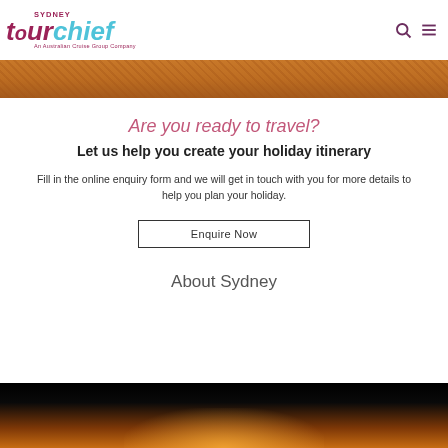[Figure (logo): Sydney Tour Chief logo - An Australian Cruise Group Company]
[Figure (photo): Hero landscape photo banner showing reddish-brown rocky terrain]
Are you ready to travel?
Let us help you create your holiday itinerary
Fill in the online enquiry form and we will get in touch with you for more details to help you plan your holiday.
Enquire Now
About Sydney
[Figure (photo): Photo of Sydney at dusk/sunset with dark sky and warm orange glow near the horizon]